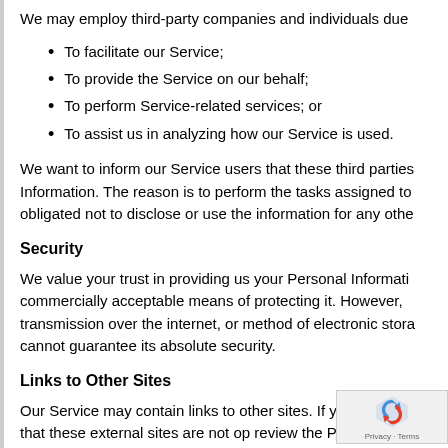We may employ third-party companies and individuals due
To facilitate our Service;
To provide the Service on our behalf;
To perform Service-related services; or
To assist us in analyzing how our Service is used.
We want to inform our Service users that these third parties Information. The reason is to perform the tasks assigned to obligated not to disclose or use the information for any othe
Security
We value your trust in providing us your Personal Informati commercially acceptable means of protecting it. However, transmission over the internet, or method of electronic stora cannot guarantee its absolute security.
Links to Other Sites
Our Service may contain links to other sites. If yo that site. Note that these external sites are not op review the Privacy Policy of these websites. We for the content, privacy policies, or practices of any third-pa